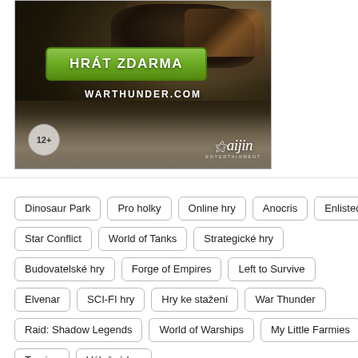[Figure (photo): War Thunder game advertisement banner showing a tank in muddy terrain with text HRÁT ZDARMA (Play for Free) and WARTHUNDER.COM. Includes 12+ age rating badge and Gaijin Entertainment logo.]
Dinosaur Park
Pro holky
Online hry
Anocris
Enlisted
Star Conflict
World of Tanks
Strategické hry
Budovatelské hry
Forge of Empires
Left to Survive
Elvenar
SCI-FI hry
Hry ke stažení
War Thunder
Raid: Shadow Legends
World of Warships
My Little Farmies
Travian
Válečné hry